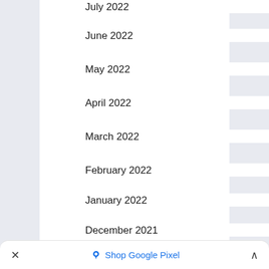July 2022
June 2022
May 2022
April 2022
March 2022
February 2022
January 2022
December 2021
November 2021
× Shop Google Pixel ∧